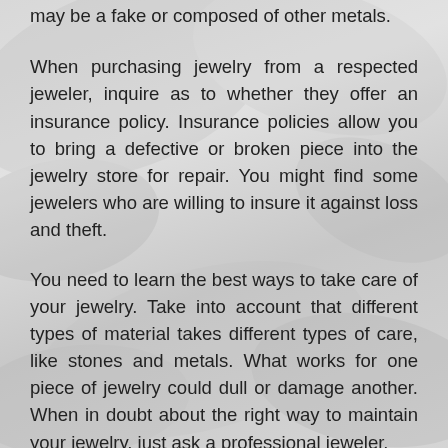may be a fake or composed of other metals.
When purchasing jewelry from a respected jeweler, inquire as to whether they offer an insurance policy. Insurance policies allow you to bring a defective or broken piece into the jewelry store for repair. You might find some jewelers who are willing to insure it against loss and theft.
You need to learn the best ways to take care of your jewelry. Take into account that different types of material takes different types of care, like stones and metals. What works for one piece of jewelry could dull or damage another. When in doubt about the right way to maintain your jewelry, just ask a professional jeweler.
If you are getting jewelry for someone you consider to be one-of-a-kind, think about buying a piece that's the same: unique and specially-crafted. Giving a gift that requires thought and creativity will make it even more special.